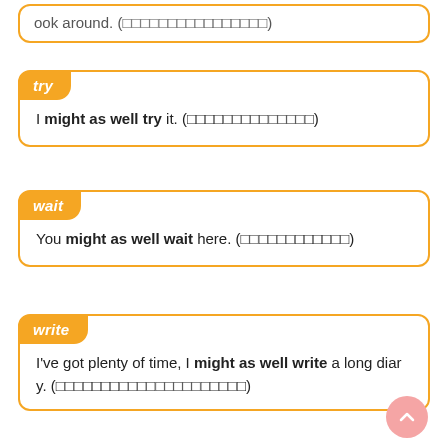ook around. (□□□□□□□□□□□□□□□□)
try
I might as well try it. (□□□□□□□□□□□□□□)
wait
You might as well wait here. (□□□□□□□□□□□□)
write
I've got plenty of time, I might as well write a long diary. (□□□□□□□□□□□□□□□□□□□□)